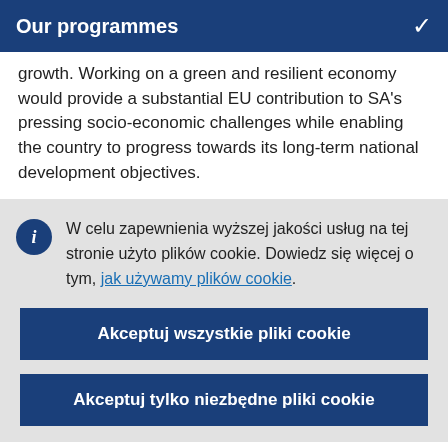Our programmes
growth. Working on a green and resilient economy would provide a substantial EU contribution to SA's pressing socio-economic challenges while enabling the country to progress towards its long-term national development objectives.
W celu zapewnienia wyższej jakości usług na tej stronie użyto plików cookie. Dowiedz się więcej o tym, jak używamy plików cookie.
Akceptuj wszystkie pliki cookie
Akceptuj tylko niezbędne pliki cookie